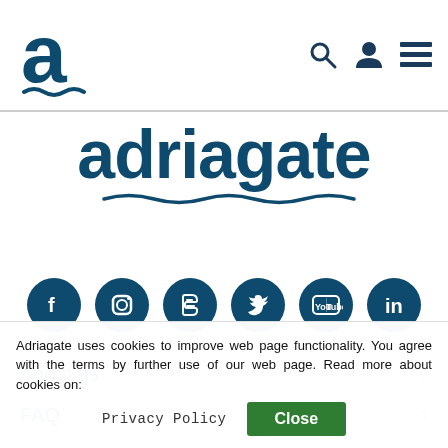[Figure (logo): Adriagate logo: dark blue stylized letter 'a' with wave underline]
[Figure (logo): Navigation icons: search magnifier, user profile, hamburger menu — all dark navy blue]
adriagate
[Figure (infographic): Row of 6 social media icons on dark navy circular backgrounds: Facebook, Instagram, Blogger, Twitter, YouTube, LinkedIn]
About us
FAQ
General terms
Privacy Policy
Adriagate uses cookies to improve web page functionality. You agree with the terms by further use of our web page. Read more about cookies on: Privacy Policy  Close